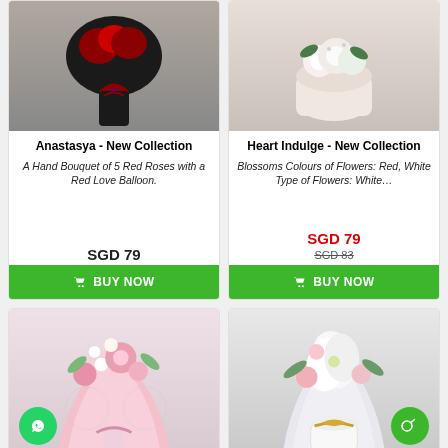[Figure (photo): Anastasya flower product - hand bouquet with red roses and dark wrapping with ribbon]
Anastasya - New Collection
A Hand Bouquet of 5 Red Roses with a Red Love Balloon.
SGD 79
BUY NOW
[Figure (photo): Heart Indulge flower product - white roses in a round box with greenery]
Heart Indulge - New Collection
Blossoms Colours of Flowers: Red, White Type of Flowers: White…
SGD 79
SGD 83
BUY NOW
[Figure (photo): Pink flower bouquet wrapped in pink paper with carnations and small white flowers, WhatsApp button visible]
[Figure (photo): White lily and carnation bouquet in white cylindrical vase with gold ribbon, chat button visible]